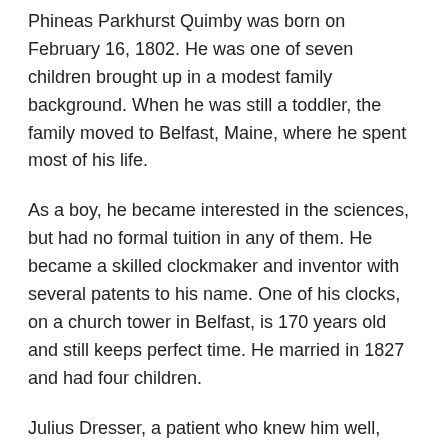Phineas Parkhurst Quimby was born on February 16, 1802. He was one of seven children brought up in a modest family background. When he was still a toddler, the family moved to Belfast, Maine, where he spent most of his life.
As a boy, he became interested in the sciences, but had no formal tuition in any of them. He became a skilled clockmaker and inventor with several patents to his name. One of his clocks, on a church tower in Belfast, is 170 years old and still keeps perfect time. He married in 1827 and had four children.
Julius Dresser, a patient who knew him well, described him as 'a small man weighing less than 9 stone (57 Kg), well proportioned, with dark eyes, a piercing gaze and a somewhat nervous disposition.'